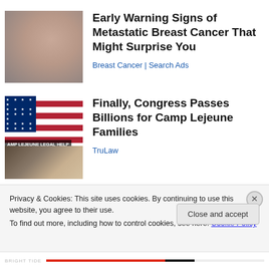[Figure (photo): Woman touching her chest/collar area, blurred medical imagery]
Early Warning Signs of Metastatic Breast Cancer That Might Surprise You
Breast Cancer | Search Ads
[Figure (photo): American flag with text 'AMP LEJEUNE LEGAL HELP' overlay, two people shaking hands in foreground]
Finally, Congress Passes Billions for Camp Lejeune Families
TruLaw
Privacy & Cookies: This site uses cookies. By continuing to use this website, you agree to their use.
To find out more, including how to control cookies, see here: Cookie Policy